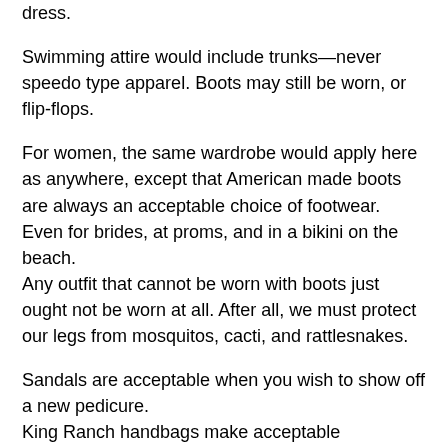dress.
Swimming attire would include trunks—never speedo type apparel. Boots may still be worn, or flip-flops.
For women, the same wardrobe would apply here as anywhere, except that American made boots are always an acceptable choice of footwear. Even for brides, at proms, and in a bikini on the beach.
Any outfit that cannot be worn with boots just ought not be worn at all. After all, we must protect our legs from mosquitos, cacti, and rattlesnakes.
Sandals are acceptable when you wish to show off a new pedicure.
King Ranch handbags make acceptable accessories.
TALKIN':